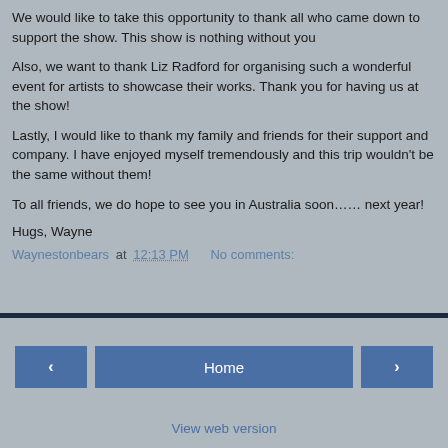We would like to take this opportunity to thank all who came down to support the show. This show is nothing without you
Also, we want to thank Liz Radford for organising such a wonderful event for artists to showcase their works. Thank you for having us at the show!
Lastly, I would like to thank my family and friends for their support and company. I have enjoyed myself tremendously and this trip wouldn't be the same without them!
To all friends, we do hope to see you in Australia soon…… next year!
Hugs, Wayne
Waynestonbears at 12:13 PM   No comments:
‹   Home   ›   View web version